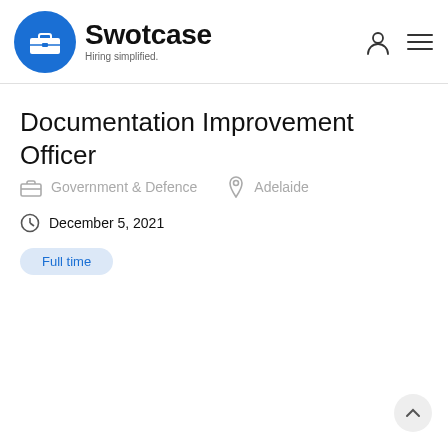Swotcase — Hiring simplified.
Documentation Improvement Officer
Government & Defence   Adelaide
December 5, 2021
Full time